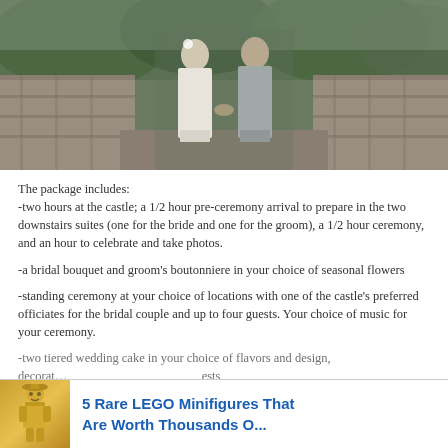[Figure (photo): A bride and groom standing face to face on a stone terrace or castle wall, with forested hills in the background. The bride wears a white dress and the groom a gray suit.]
The package includes:
-two hours at the castle; a 1/2 hour pre-ceremony arrival to prepare in the two downstairs suites (one for the bride and one for the groom), a 1/2 hour ceremony, and an hour to celebrate and take photos.
-a bridal bouquet and groom’s boutonniere in your choice of seasonal flowers
-standing ceremony at your choice of locations with one of the castle’s preferred officiates for the bridal couple and up to four guests. Your choice of music for your ceremony.
-two tiered wedding cake in your choice of flavors and design, decorat... guests along wi... can
[Figure (infographic): Advertisement banner: '5 Rare LEGO Minifigures That Are Worth Thousands O...' with a golden LEGO minifigure icon on the left.]